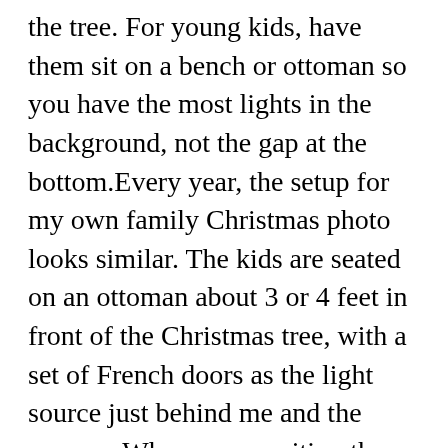the tree. For young kids, have them sit on a bench or ottoman so you have the most lights in the background, not the gap at the bottom.Every year, the setup for my own family Christmas photo looks similar. The kids are seated on an ottoman about 3 or 4 feet in front of the Christmas tree, with a set of French doors as the light source just behind me and the camera. Where you position the camera will depend on the focal length of your lens. Avoid using the zoom function if your lens has it, as the aperture becomes smaller toward the longer end of the zoom. And, use a tripod to keep things steady, which helps the camera take in more light without adding any unwanted blurring due to camera shake.Adjust your camera settingsTo get that background blur you need to make the opening in the